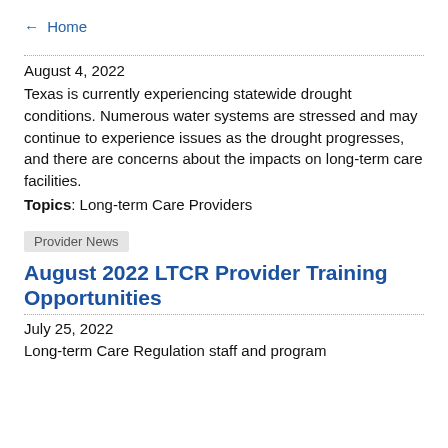← Home
August 4, 2022
Texas is currently experiencing statewide drought conditions. Numerous water systems are stressed and may continue to experience issues as the drought progresses, and there are concerns about the impacts on long-term care facilities.
Topics: Long-term Care Providers
Provider News
August 2022 LTCR Provider Training Opportunities
July 25, 2022
Long-term Care Regulation staff and program